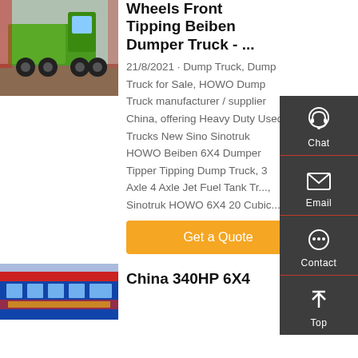[Figure (photo): Green HOWO dump truck photo thumbnail]
Wheels Front Tipping Beiben Dumper Truck - ...
21/8/2021 · Dump Truck, Dump Truck for Sale, HOWO Dump Truck manufacturer / supplier China, offering Heavy Duty Used Trucks New Sino Sinotruk HOWO Beiben 6X4 Dumper Tipper Tipping Dump Truck, 3 Axle 4 Axle Jet Fuel Tank Truck, Sinotruk HOWO 6X4 20 Cubic...
[Figure (infographic): Floating sidebar with Chat, Email, Contact, Top buttons on dark grey background]
Get a Quote
[Figure (photo): Building/dealership storefront photo thumbnail]
China 340HP 6X4